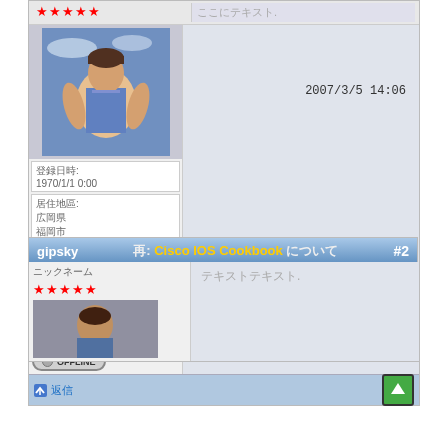[Figure (screenshot): Forum post block showing user avatar (game character), star rating, user info boxes with dates and stats, offline status button, and post content area with timestamp 2007/3/5 14:06]
2007/3/5 14:06
oooo: 1970/1/1 0:00
oooo: oooooo oooo
oo: 56
oo: 6; EXP: 34 HP : 0 / 133 MP : 18 / 20541
[Figure (screenshot): Second forum post header showing username gipsky and post title about Cisco IOS Cookbook, post number #2]
gipsky
oo Cisco IOS Cookbook ooooo #2
ooooo
oooooooooo.